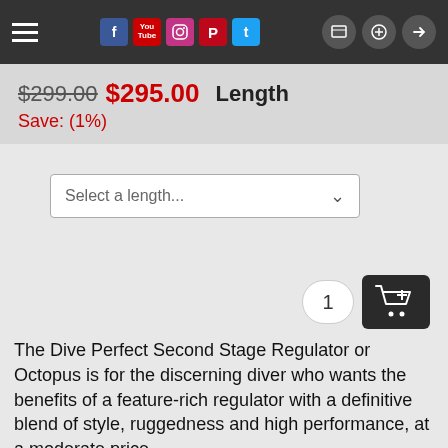Navigation bar with hamburger menu, social icons (Facebook, YouTube, Instagram, Pinterest, Twitter), home, upload, and login icons
$299.00  $295.00  Length
Save: (1%)
Select a length...
1
The Dive Perfect Second Stage Regulator or Octopus is for the discerning diver who wants the benefits of a feature-rich regulator with a definitive blend of style, ruggedness and high performance, at a moderate price.
Every detail of this product has been carefully designed to deliver a regulator package of the highest quality with improved safety for divers. These regs meet the tough CE EN250 European standards and